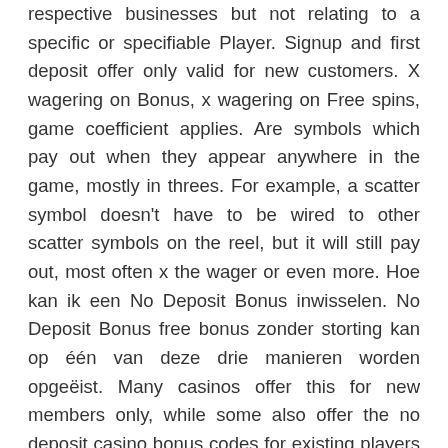respective businesses but not relating to a specific or specifiable Player. Signup and first deposit offer only valid for new customers. X wagering on Bonus, x wagering on Free spins, game coefficient applies. Are symbols which pay out when they appear anywhere in the game, mostly in threes. For example, a scatter symbol doesn't have to be wired to other scatter symbols on the reel, but it will still pay out, most often x the wager or even more. Hoe kan ik een No Deposit Bonus inwisselen. No Deposit Bonus free bonus zonder storting kan op één van deze drie manieren worden opgeëist. Many casinos offer this for new members only, while some also offer the no deposit casino bonus codes for existing players or long time members. From time to time, you will find additional...